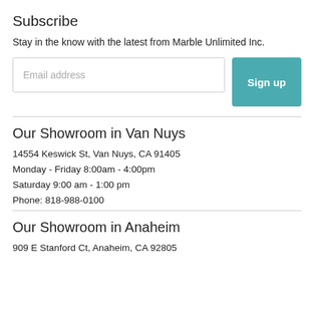Subscribe
Stay in the know with the latest from Marble Unlimited Inc.
Email address | Sign up
Our Showroom in Van Nuys
14554 Keswick St, Van Nuys, CA 91405
Monday - Friday 8:00am - 4:00pm
Saturday 9:00 am - 1:00 pm
Phone: 818-988-0100
Our Showroom in Anaheim
909 E Stanford Ct, Anaheim, CA 92805